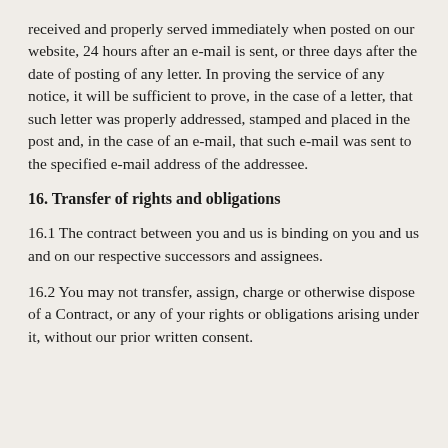received and properly served immediately when posted on our website, 24 hours after an e-mail is sent, or three days after the date of posting of any letter. In proving the service of any notice, it will be sufficient to prove, in the case of a letter, that such letter was properly addressed, stamped and placed in the post and, in the case of an e-mail, that such e-mail was sent to the specified e-mail address of the addressee.
16. Transfer of rights and obligations
16.1 The contract between you and us is binding on you and us and on our respective successors and assignees.
16.2 You may not transfer, assign, charge or otherwise dispose of a Contract, or any of your rights or obligations arising under it, without our prior written consent.